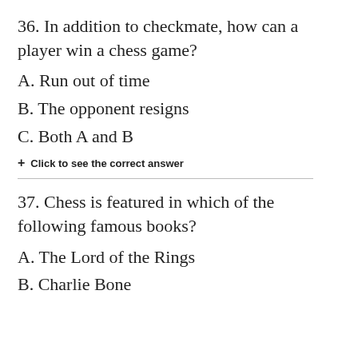36. In addition to checkmate, how can a player win a chess game?
A. Run out of time
B. The opponent resigns
C. Both A and B
+ Click to see the correct answer
37. Chess is featured in which of the following famous books?
A. The Lord of the Rings
B. Charlie Bone